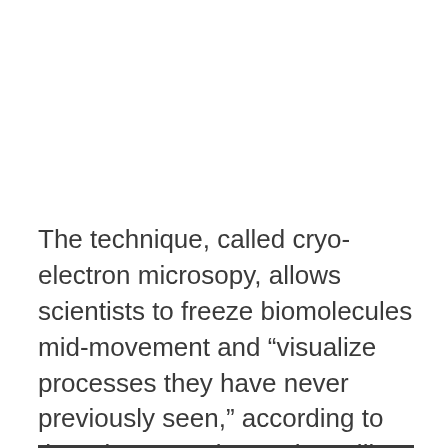The technique, called cryo-electron microsopy, allows scientists to freeze biomolecules mid-movement and “visualize processes they have never previously seen,” according to the prize committee. That will help us understand how biomolecules act and interact with each other — which is key for finding new drugs, as well as understanding chemistry at its most basic levels.